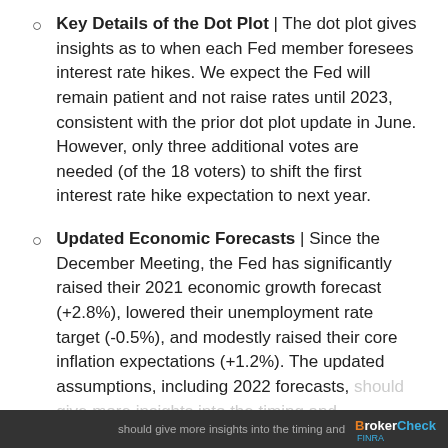Key Details of the Dot Plot | The dot plot gives insights as to when each Fed member foresees interest rate hikes. We expect the Fed will remain patient and not raise rates until 2023, consistent with the prior dot plot update in June. However, only three additional votes are needed (of the 18 voters) to shift the first interest rate hike expectation to next year.
Updated Economic Forecasts | Since the December Meeting, the Fed has significantly raised their 2021 economic growth forecast (+2.8%), lowered their unemployment rate target (-0.5%), and modestly raised their core inflation expectations (+1.2%). The updated assumptions, including 2022 forecasts, should give more insights into the timing and
BrokerCheck FINRA